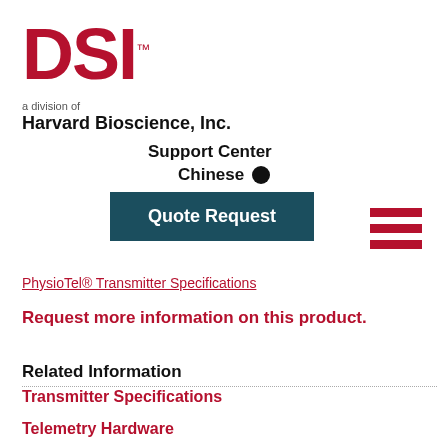[Figure (logo): DSI logo in red bold letters with trademark symbol, followed by 'a division of Harvard Bioscience, Inc.' text]
Support Center
Chinese 🌐
Quote Request
PhysioTel® Transmitter Specifications
Request more information on this product.
Related Information
Transmitter Specifications
Telemetry Hardware